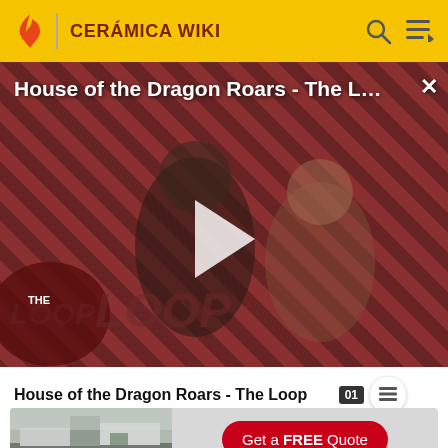CERÁMICA WIKI
[Figure (screenshot): Video thumbnail showing House of the Dragon Roars - The Loop with two characters from the show and The Loop branding overlay, with a play button in the center]
House of the Dragon Roars - The Loop
[Figure (photo): Advertisement banner showing a kitchen image with a Get a FREE Quote red button]